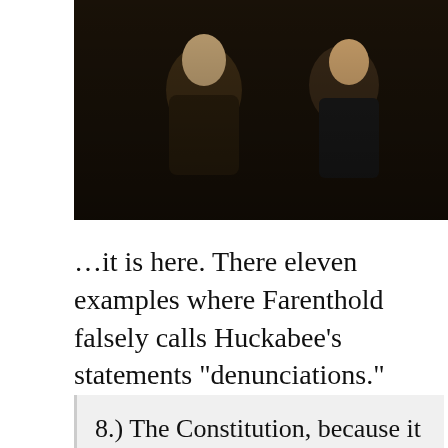[Figure (screenshot): Video thumbnail showing two people in a dark scene with a play button triangle at the top center]
...it is here. There eleven examples where Farenthold falsely calls Huckabee’s statements “denunciations.”
8.) The Constitution, because it allows Supreme Court justices to serve for life. “I will fight for term